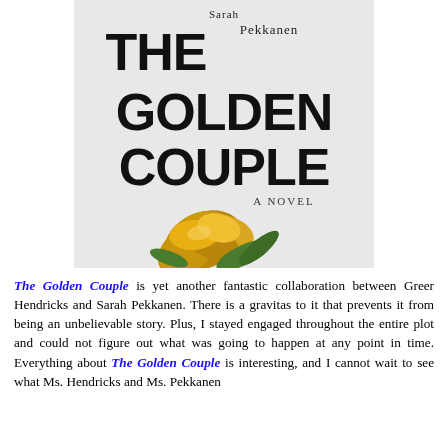[Figure (illustration): Book cover of 'The Golden Couple' by Sarah Pekkanen (and Greer Hendricks). Large bold black text reads 'THE GOLDEN COUPLE' on a white/light background. Below the title text is a large golden metallic rose with green leaves. Text 'A NOVEL' appears near the center. Author name 'Sarah Pekkanen' visible at the top.]
The Golden Couple is yet another fantastic collaboration between Greer Hendricks and Sarah Pekkanen. There is a gravitas to it that prevents it from being an unbelievable story. Plus, I stayed engaged throughout the entire plot and could not figure out what was going to happen at any point in time. Everything about The Golden Couple is interesting, and I cannot wait to see what Ms. Hendricks and Ms. Pekkanen